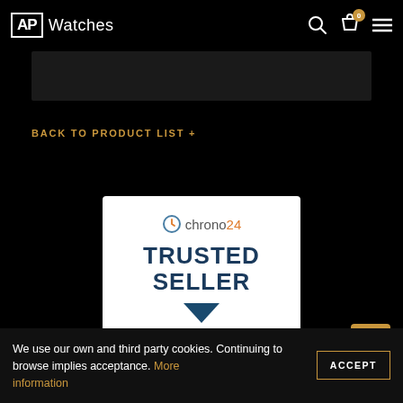AP Watches
[Figure (other): Dark rectangular banner below header]
BACK TO PRODUCT LIST +
[Figure (logo): Chrono24 Trusted Seller badge — white card with Chrono24 logo and bold dark blue text reading TRUSTED SELLER]
[Figure (other): Gold scroll-to-top arrow button]
We use our own and third party cookies. Continuing to browse implies acceptance. More information ACCEPT